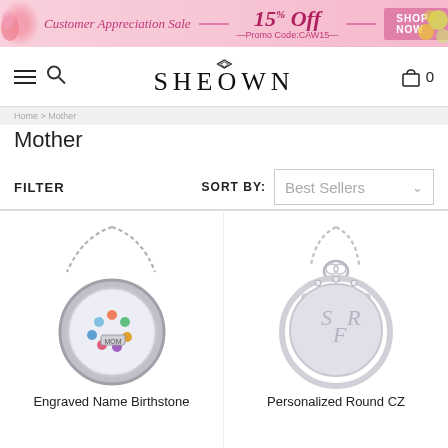[Figure (screenshot): Pink promotional banner reading 'Customer Appreciation Sale 15% Off —Promo Code:CAW15— SHOP NOW' with floral decoration]
SHEOWN navigation bar with hamburger menu, search icon, SHEOWN logo, and cart icon with 0 items
Home > Mother (breadcrumb)
Mother
FILTER   SORT BY: Best Sellers
[Figure (photo): Silver locket necklace with colorful gemstones and 'MOM' charm inside a floating locket pendant on a chain]
[Figure (photo): Personalized round CZ monogram necklace with 'SFR' engraving surrounded by cubic zirconia stones on a chain]
Engraved Name Birthstone
Personalized Round CZ